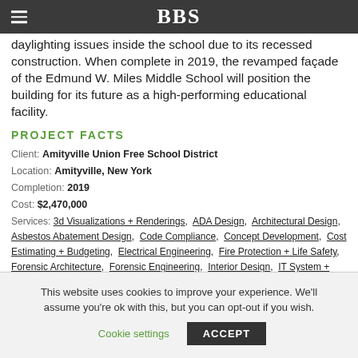BBS
daylighting issues inside the school due to its recessed construction. When complete in 2019, the revamped façade of the Edmund W. Miles Middle School will position the building for its future as a high-performing educational facility.
PROJECT FACTS
Client: Amityville Union Free School District
Location: Amityville, New York
Completion: 2019
Cost: $2,470,000
Services: 3d Visualizations + Renderings, ADA Design, Architectural Design, Asbestos Abatement Design, Code Compliance, Concept Development, Cost Estimating + Budgeting, Electrical Engineering, Fire Protection + Life Safety, Forensic Architecture, Forensic Engineering, Interior Design, IT System + Network Design, Landscape Architectural Design, Master
This website uses cookies to improve your experience. We'll assume you're ok with this, but you can opt-out if you wish.
Cookie settings  ACCEPT